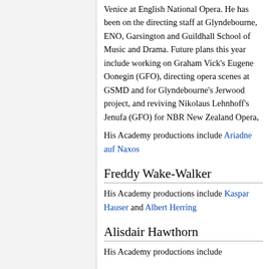Venice at English National Opera. He has been on the directing staff at Glyndebourne, ENO, Garsington and Guildhall School of Music and Drama. Future plans this year include working on Graham Vick's Eugene Oonegin (GFO), directing opera scenes at GSMD and for Glyndebourne's Jerwood project, and reviving Nikolaus Lehnhoff's Jenufa (GFO) for NBR New Zealand Opera,
His Academy productions include Ariadne auf Naxos
Freddy Wake-Walker
His Academy productions include Kaspar Hauser and Albert Herring
Alisdair Hawthorn
His Academy productions include